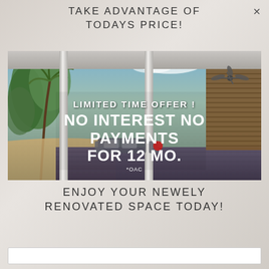TAKE ADVANTAGE OF TODAYS PRICE!
[Figure (photo): Outdoor covered patio/pergola with white columns, wood panel wall, ceiling fan, palm trees, dark deck, and modern outdoor furniture. Text overlay reads: LIMITED TIME OFFER! NO INTEREST NO PAYMENTS FOR 12 MO. *OAC]
ENJOY YOUR NEWELY RENOVATED SPACE TODAY!